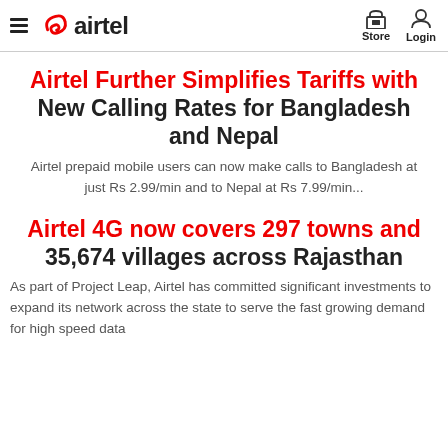airtel | Store | Login
Airtel Further Simplifies Tariffs with New Calling Rates for Bangladesh and Nepal
Airtel prepaid mobile users can now make calls to Bangladesh at just Rs 2.99/min and to Nepal at Rs 7.99/min...
Airtel 4G now covers 297 towns and 35,674 villages across Rajasthan
As part of Project Leap, Airtel has committed significant investments to expand its network across the state to serve the fast growing demand for high speed data